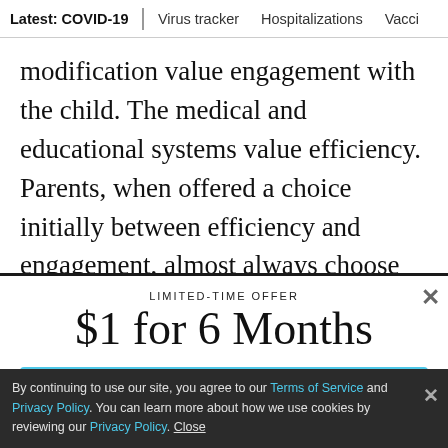Latest: COVID-19 | Virus tracker | Hospitalizations | Vacci
modification value engagement with the child. The medical and educational systems value efficiency. Parents, when offered a choice initially between efficiency and engagement, almost always choose engagement. However, when offered the choice of only
LIMITED-TIME OFFER
$1 for 6 Months
SUBSCRIBE NOW
By continuing to use our site, you agree to our Terms of Service and Privacy Policy. You can learn more about how we use cookies by reviewing our Privacy Policy. Close